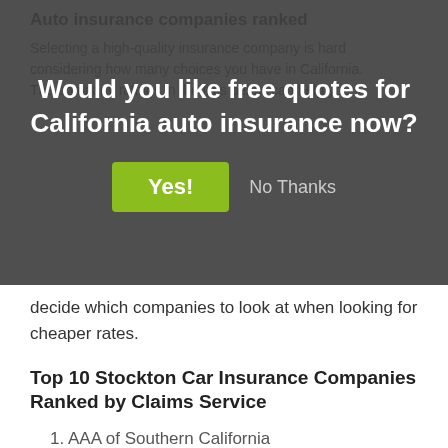Auto insurance companies ranked
Selecting a high-quality insurance company is hard considering how many choices you have in California. The company ratings in the lists below can help you decide which companies to look at when looking for cheaper rates.
Would you like free quotes for California auto insurance now?
Yes! No Thanks
decide which companies to look at when looking for cheaper rates.
Top 10 Stockton Car Insurance Companies Ranked by Claims Service
1. AAA of Southern California
2. State Farm
3. Esurance
4. AAA Insurance